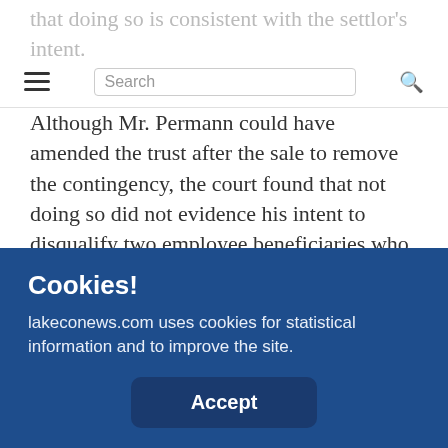that doing so is consistent with the settlor's intent.
Search
Although Mr. Permann could have amended the trust after the sale to remove the contingency, the court found that not doing so did not evidence his intent to disqualify two employee beneficiaries who still worked for his business at the time of sale.
The third employee, however, was removed as a beneficiary due to the fact that she no longer worked for the business when it was sold.
Cookies!
lakeconews.com uses cookies for statistical information and to improve the site.
Accept